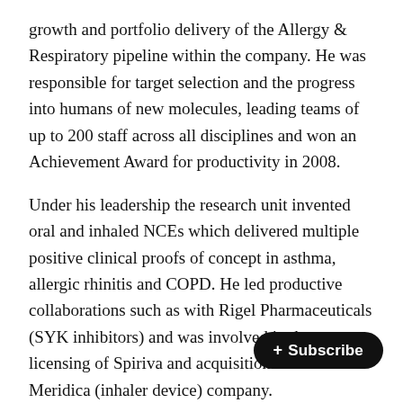growth and portfolio delivery of the Allergy & Respiratory pipeline within the company. He was responsible for target selection and the progress into humans of new molecules, leading teams of up to 200 staff across all disciplines and won an Achievement Award for productivity in 2008.
Under his leadership the research unit invented oral and inhaled NCEs which delivered multiple positive clinical proofs of concept in asthma, allergic rhinitis and COPD. He led productive collaborations such as with Rigel Pharmaceuticals (SYK inhibitors) and was involved in the licensing of Spiriva and acquisition of the Meridica (inhaler device) company.
Dr. Yeadon has published over 40 or... articles and now consults and partners with a number